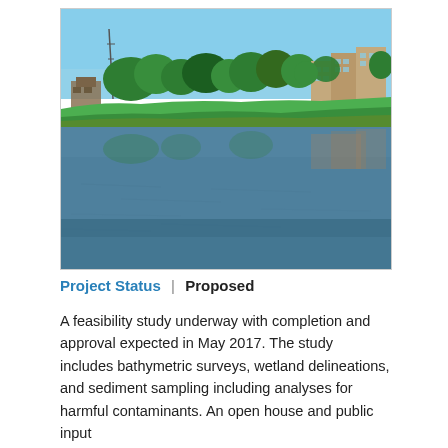[Figure (photo): Photograph of a calm river or pond with reflections of green trees and residential/apartment buildings along the far bank, under a clear blue sky.]
Project Status  |  Proposed
A feasibility study underway with completion and approval expected in May 2017. The study includes bathymetric surveys, wetland delineations, and sediment sampling including analyses for harmful contaminants. An open house and public input